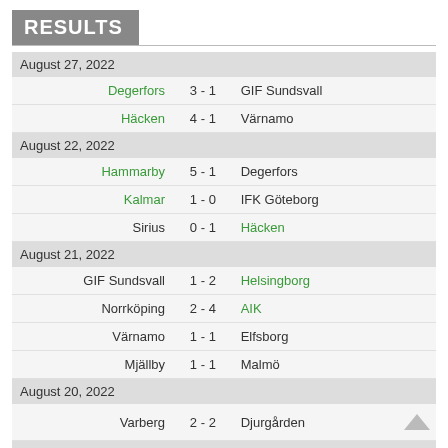RESULTS
| Home | Score | Away |
| --- | --- | --- |
| August 27, 2022 |  |  |
| Degerfors | 3 - 1 | GIF Sundsvall |
| Häcken | 4 - 1 | Värnamo |
| August 22, 2022 |  |  |
| Hammarby | 5 - 1 | Degerfors |
| Kalmar | 1 - 0 | IFK Göteborg |
| Sirius | 0 - 1 | Häcken |
| August 21, 2022 |  |  |
| GIF Sundsvall | 1 - 2 | Helsingborg |
| Norrköping | 2 - 4 | AIK |
| Värnamo | 1 - 1 | Elfsborg |
| Mjällby | 1 - 1 | Malmö |
| August 20, 2022 |  |  |
| Varberg | 2 - 2 | Djurgården |
| August 15, 2022 |  |  |